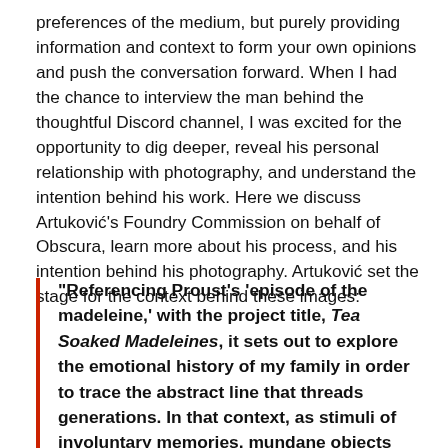preferences of the medium, but purely providing information and context to form your own opinions and push the conversation forward. When I had the chance to interview the man behind the thoughtful Discord channel, I was excited for the opportunity to dig deeper, reveal his personal relationship with photography, and understand the intention behind his work. Here we discuss Artuković's Foundry Commission on behalf of Obscura, learn more about his process, and his intention behind his photography. Artuković set the stage for the context behind these images:
"Referencing Proust's 'episode of the madeleine,' with the project title, Tea Soaked Madeleines, it sets out to explore the emotional history of my family in order to trace the abstract line that threads generations. In that context, as stimuli of involuntary memories, mundane objects acquire symbolic